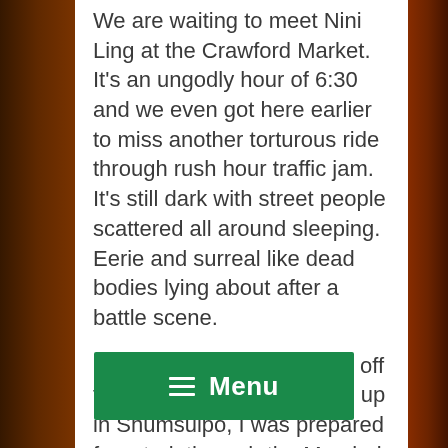We are waiting to meet Nini Ling at the Crawford Market. It's an ungodly hour of 6:30 and we even got here earlier to miss another torturous ride through rush hour traffic jam. It's still dark with street people scattered all around sleeping. Eerie and surreal like dead bodies lying about after a battle scene.
Soon as Nini arrives, we're off to the races. Having grown up in Shumsuipo, I was prepared for a trek through the Mumbai swamps with my rubber sandals and shorts. Ajay tells me how this white camera dude from Canada was so freaked by the conditions that he flew back after not more than a day, and he was nowhere near a place like the wet market we are about to shoot in. I, be[...] am always leery of buying [...] stine packaging
[Figure (other): Green menu button overlay with hamburger icon and the word 'Menu' in white text on a green background, partially obscuring the body text]